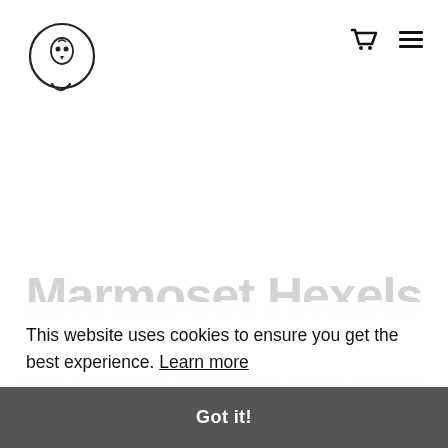Marmoset Hexels [logo + nav icons]
[Figure (logo): Marmoset Hexels circular logo: a speech bubble circle outline containing a small bird/skull icon]
Marmoset Hexels
SVG BASED VECTOR ART, PIXEL ART, DESIGN & ANIMATION
This website uses cookies to ensure you get the best experience. Learn more
Got it!